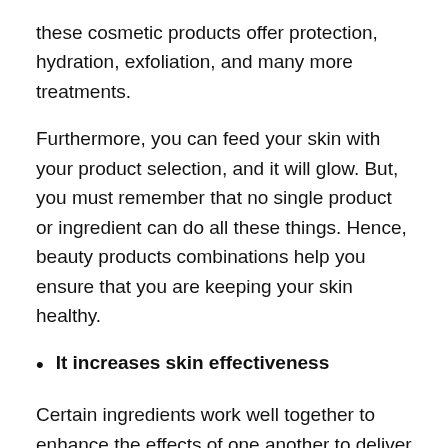these cosmetic products offer protection, hydration, exfoliation, and many more treatments.
Furthermore, you can feed your skin with your product selection, and it will glow. But, you must remember that no single product or ingredient can do all these things. Hence, beauty products combinations help you ensure that you are keeping your skin healthy.
It increases skin effectiveness
Certain ingredients work well together to enhance the effects of one another to deliver faster results. For example, ceramides are types of lipids found naturally in your skin and applying topically can help retain moisture.
Also, the beauty product combination also protects against environmental stresses. When paired with ceramides, a